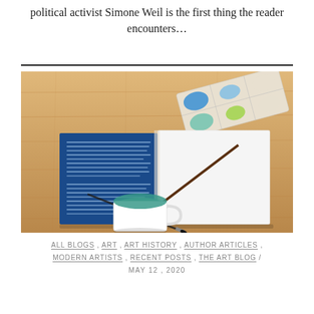political activist Simone Weil is the first thing the reader encounters…
[Figure (photo): Top-down view of an open book/journal with blue printed page on a wooden table, alongside a watercolor paint palette with blue and green colors, a paintbrush resting diagonally on the blank white page, and a white mug filled with green paint water.]
ALL BLOGS , ART , ART HISTORY , AUTHOR ARTICLES , MODERN ARTISTS , RECENT POSTS , THE ART BLOG / MAY 12 , 2020